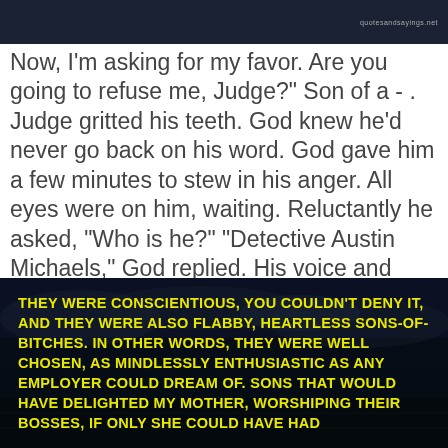quotesandsayings.net
Now, I'm asking for my favor. Are you going to refuse me, Judge?" Son of a - . Judge gritted his teeth. God knew he'd never go back on his word. God gave him a few minutes to stew in his anger. All eyes were on him, waiting. Reluctantly he asked, "Who is he?" "Detective Austin Michaels," God replied. His voice and demeanor looked as if he was proud to present this guy. Judge rolled his eyes when he saw Detective Michaels stand up. Of course it had to be him. The sexiest one of them all. Shit. — A.E. Via
[Figure (photo): Stadium background image with yellow bold text overlay reading: THEY WERE CONSCIENTIOUS, YOU COULDN'T DENY IT, AND THEY WERE ALSO FLABBY, HEARTLESS SONS-OF-BITCHES. IN OTHER WORDS, THEY WERE WELL CHOSEN, AS MINDLESSLY ENTHUSIASTIC AS ANY EMPLOYER COULD DREAM OF. SONS THAT WOULD HAVE DELIGHTED MY MOTHER, WORSHIPING THEIR BOSSES, IF ONLY SHE COULD HAVE HAD]